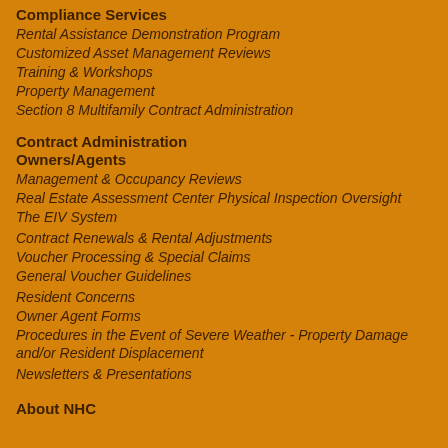Compliance Services
Rental Assistance Demonstration Program
Customized Asset Management Reviews
Training & Workshops
Property Management
Section 8 Multifamily Contract Administration
Contract Administration Owners/Agents
Management & Occupancy Reviews
Real Estate Assessment Center Physical Inspection Oversight
The EIV System
Contract Renewals & Rental Adjustments
Voucher Processing & Special Claims
General Voucher Guidelines
Resident Concerns
Owner Agent Forms
Procedures in the Event of Severe Weather - Property Damage and/or Resident Displacement
Newsletters & Presentations
About NHC